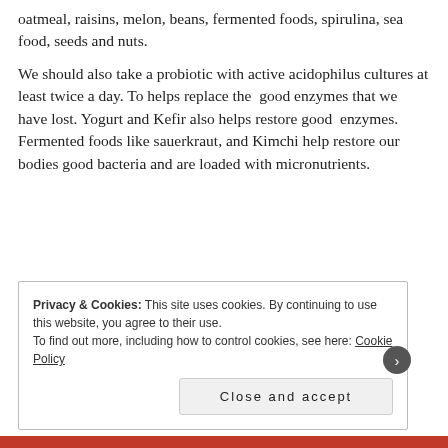oatmeal, raisins, melon, beans, fermented foods, spirulina, sea food, seeds and nuts.
We should also take a probiotic with active acidophilus cultures at least twice a day. To helps replace the good enzymes that we have lost. Yogurt and Kefir also helps restore good enzymes. Fermented foods like sauerkraut, and Kimchi help restore our bodies good bacteria and are loaded with micronutrients.
Privacy & Cookies: This site uses cookies. By continuing to use this website, you agree to their use.
To find out more, including how to control cookies, see here: Cookie Policy
Close and accept